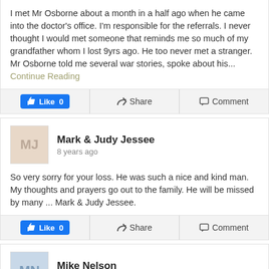I met Mr Osborne about a month in a half ago when he came into the doctor's office. I'm responsible for the referrals. I never thought I would met someone that reminds me so much of my grandfather whom I lost 9yrs ago. He too never met a stranger. Mr Osborne told me several war stories, spoke about his... Continue Reading
Mark & Judy Jessee
8 years ago
So very sorry for your loss. He was such a nice and kind man. My thoughts and prayers go out to the family. He will be missed by many ... Mark & Judy Jessee.
Mike Nelson
8 years ago